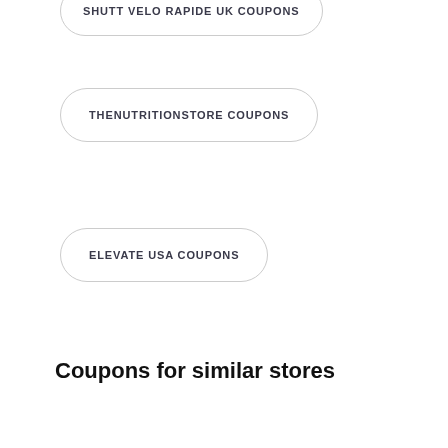SHUTT VELO RAPIDE UK COUPONS
THENUTRITIONSTORE COUPONS
ELEVATE USA COUPONS
Coupons for similar stores
TRENDY MOO COUPONS
ACTIVE ATHLETE USA COUPONS
BOHOTUSK DISCOUNT CODES
PRETTYGALBOHO COUPONS